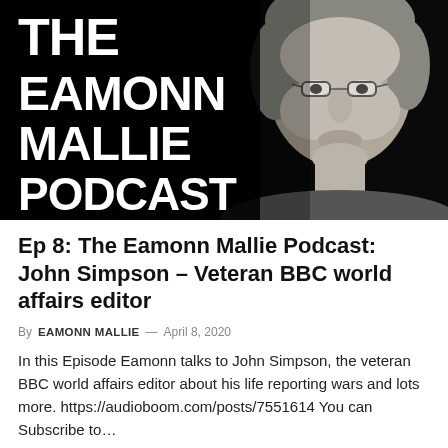[Figure (photo): Black and white podcast cover image for 'The Eamonn Mallie Podcast'. Large bold white text on black background reads 'THE EAMONN MALLIE PODCAST' on the left side, and a black and white portrait photo of an older man with glasses (Eamonn Mallie) appears on the right side.]
Ep 8: The Eamonn Mallie Podcast: John Simpson – Veteran BBC world affairs editor
By EAMONN MALLIE — April 8, 2020
In this Episode Eamonn talks to John Simpson, the veteran BBC world affairs editor about his life reporting wars and lots more. https://audioboom.com/posts/7551614 You can Subscribe to...